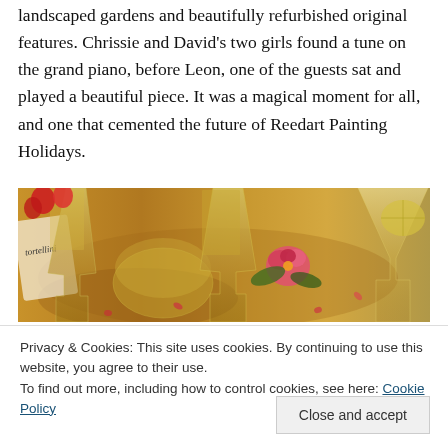landscaped gardens and beautifully refurbished original features. Chrissie and David's two girls found a tune on the grand piano, before Leon, one of the guests sat and played a beautiful piece. It was a magical moment for all, and one that cemented the future of Reedart Painting Holidays.
[Figure (photo): Close-up photo of champagne flutes and wine glasses on a table with pink flowers, warm golden lighting, party/celebration setting. A paper label partially visible on the left reads 'tortellini'.]
Privacy & Cookies: This site uses cookies. By continuing to use this website, you agree to their use.
To find out more, including how to control cookies, see here: Cookie Policy
Close and accept